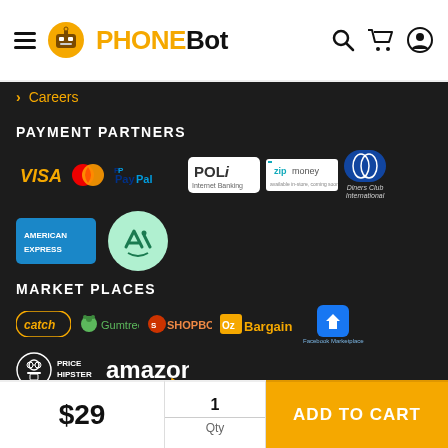PHONEBOT — navigation header with hamburger menu, search, cart, and user icons
> Careers
PAYMENT PARTNERS
[Figure (logo): Payment partner logos: VISA, Mastercard, PayPal, POLi Internet Banking, zip money, Diners Club International, American Express, AfterPay]
MARKET PLACES
[Figure (logo): Market place logos: catch, Gumtree, SHOPBOT, OzBargain, Facebook Marketplace, Price Hipster, amazon]
$29
1
Qty
ADD TO CART